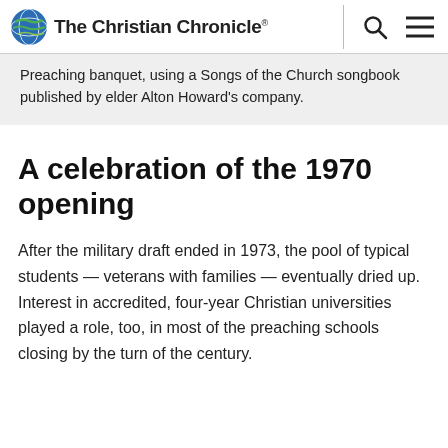The Christian Chronicle
Preaching banquet, using a Songs of the Church songbook published by elder Alton Howard's company.
A celebration of the 1970 opening
After the military draft ended in 1973, the pool of typical students — veterans with families — eventually dried up. Interest in accredited, four-year Christian universities played a role, too, in most of the preaching schools closing by the turn of the century.